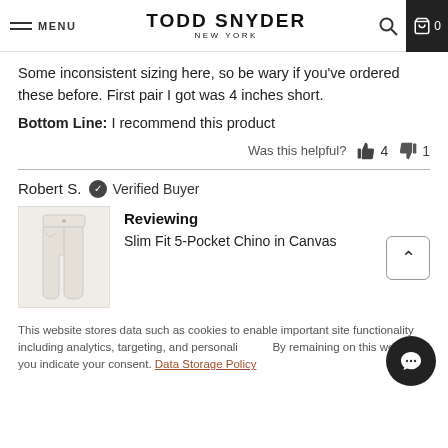MENU | TODD SNYDER NEW YORK | 0
Some inconsistent sizing here, so be wary if you've ordered these before. First pair I got was 4 inches short.
Bottom Line: I recommend this product
Was this helpful? 4 1
Robert S. Verified Buyer
Reviewing
Slim Fit 5-Pocket Chino in Canvas
This website stores data such as cookies to enable important site functionality including analytics, targeting, and personalization. By remaining on this web site you indicate your consent. Data Storage Policy